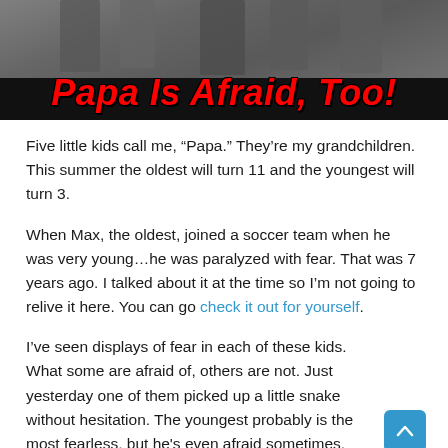[Figure (photo): Header image with photo of children's legs/feet at top and bold red italic text 'Papa Is Afraid, Too!' on black background]
Five little kids call me, “Papa.” They’re my grandchildren. This summer the oldest will turn 11 and the youngest will turn 3.
When Max, the oldest, joined a soccer team when he was very young…he was paralyzed with fear. That was 7 years ago. I talked about it at the time so I’m not going to relive it here. You can go check it out for yourself.
I’ve seen displays of fear in each of these kids. What some are afraid of, others are not. Just yesterday one of them picked up a little snake without hesitation. The youngest probably is the most fearless, but he’s even afraid sometimes.